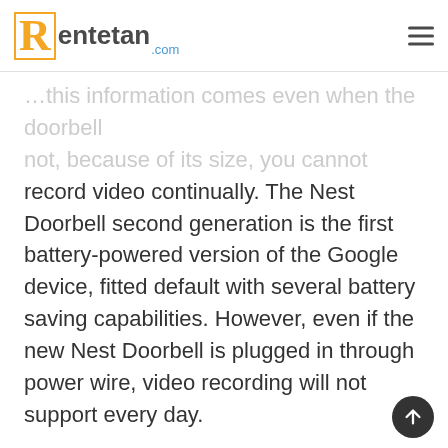Rentetan.com
record video continually. The Nest Doorbell second generation is the first battery-powered version of the Google device, fitted default with several battery saving capabilities. However, even if the new Nest Doorbell is plugged in through power wire, video recording will not support every day.
Google states that because wire has ‘thermal problems’ to the Battery-powered Nest Doorbell,’ because it is not big sufficient for heat to be dissipated if the sun is settling.
This information comes from a thread originally obtained by Android Police in the